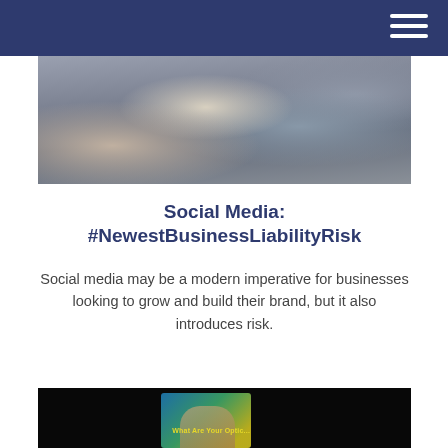[Figure (photo): Photo of a person sitting near a radiator, viewed from above/side angle, dark-toned lifestyle image]
Social Media: #NewestBusinessLiabilityRisk
Social media may be a modern imperative for businesses looking to grow and build their brand, but it also introduces risk.
[Figure (photo): Dark photo of hands holding a glowing smartphone/tablet showing a brochure with text 'What Are Your Optio...' on a dark background]